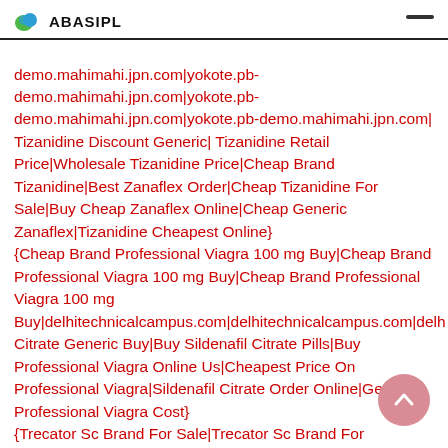ABASIPL
demo.mahimahi.jpn.com|yokote.pb-demo.mahimahi.jpn.com|yokote.pb-demo.mahimahi.jpn.com|yokote.pb-demo.mahimahi.jpn.com| Tizanidine Discount Generic| Tizanidine Retail Price|Wholesale Tizanidine Price|Cheap Brand Tizanidine|Best Zanaflex Order|Cheap Tizanidine For Sale|Buy Cheap Zanaflex Online|Cheap Generic Zanaflex|Tizanidine Cheapest Online} {Cheap Brand Professional Viagra 100 mg Buy|Cheap Brand Professional Viagra 100 mg Buy|Cheap Brand Professional Viagra 100 mg Buy|delhitechnicalcampus.com|delhitechnicalcampus.com|delh Citrate Generic Buy|Buy Sildenafil Citrate Pills|Buy Professional Viagra Online Us|Cheapest Price On Professional Viagra|Sildenafil Citrate Order Online|Generic Professional Viagra Cost} {Trecator Sc Brand For Sale|Trecator Sc Brand For Sale|Trecator Sc Brand For